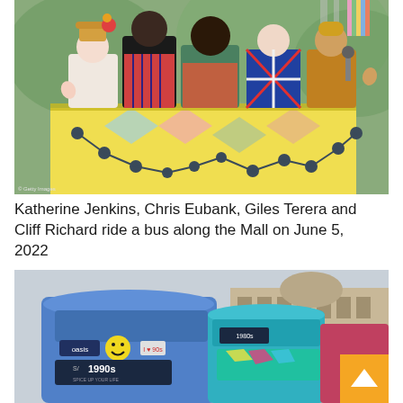[Figure (photo): Katherine Jenkins, Chris Eubank, Giles Terera and Cliff Richard riding on top of a decorated double-decker bus with a yellow and colorful geometric design, waving to crowds during the Platinum Jubilee parade along the Mall on June 5, 2022. Getty Images watermark visible.]
Katherine Jenkins, Chris Eubank, Giles Terera and Cliff Richard ride a bus along the Mall on June 5, 2022
[Figure (photo): Decorated double-decker buses with colorful wraps parked in front of a grand building. The bus in the foreground is blue with 1990s themed graphics including Oasis branding, a smiley face, and 'I Love 90s' signage. A teal/turquoise bus is visible behind it. An orange scroll-to-top button is visible in the lower right corner.]